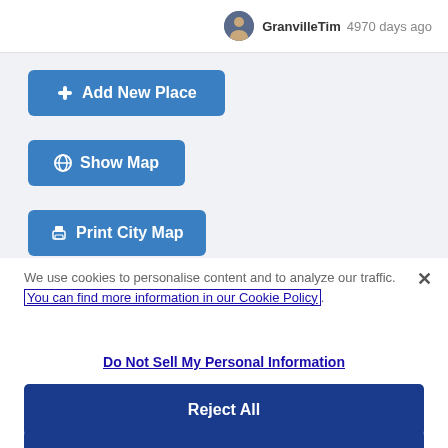GranvilleTim 4970 days ago
+ Add New Place
Show Map
Print City Map
We use cookies to personalise content and to analyze our traffic. You can find more information in our Cookie Policy.
Do Not Sell My Personal Information
Reject All
Accept Cookies